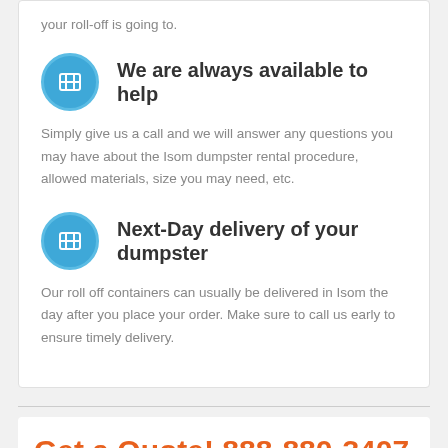your roll-off is going to.
We are always available to help
Simply give us a call and we will answer any questions you may have about the Isom dumpster rental procedure, allowed materials, size you may need, etc.
Next-Day delivery of your dumpster
Our roll off containers can usually be delivered in Isom the day after you place your order. Make sure to call us early to ensure timely delivery.
Get a Quote! 888-880-3407